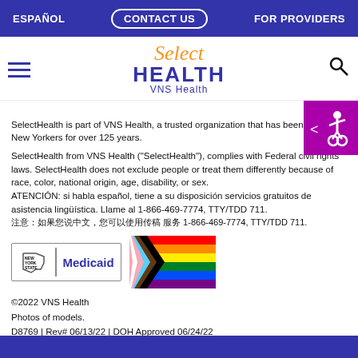ESPAÑOL   CONTACT US   FOR PROVIDERS
[Figure (logo): Select Health VNS Health logo with hamburger menu and search icon]
SelectHealth is part of VNS Health, a trusted organization that has been helping New Yorkers for over 125 years.
SelectHealth from VNS Health ("SelectHealth"), complies with Federal civil rights laws. SelectHealth does not exclude people or treat them differently because of race, color, national origin, age, disability, or sex. ATENCIÓN: si habla español, tiene a su disposición servicios gratuitos de asistencia lingüística. Llame al 1-866-469-7774, TTY/TDD 711. [Chinese text] 1-866-469-7774, TTY/TDD 711.
[Figure (logo): New York State Medicaid logo and Progress Pride Flag]
©2022 VNS Health
Photos of models.
D8769 | Rev# 06/13/22 | DOH Approved 06/24/22
"Progress" Pride Flag by @danielquasar.